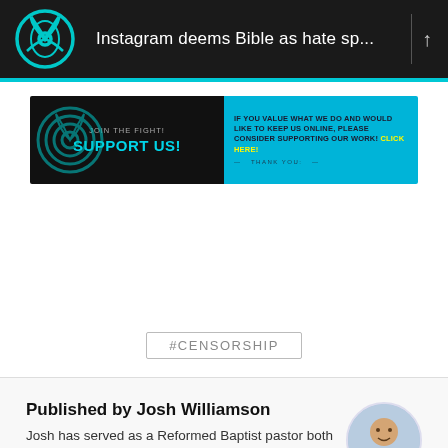Instagram deems Bible as hate sp...
[Figure (infographic): Support us banner with teal logo on black left side reading JOIN THE FIGHT! SUPPORT US! and bright blue right side with text IF YOU VALUE WHAT WE DO AND WOULD LIKE TO KEEP US ONLINE, PLEASE CONSIDER SUPPORTING OUR WORK! CLICK HERE! — THANK YOU: —]
#CENSORSHIP
Published by Josh Williamson
Josh has served as a Reformed Baptist pastor both in Australia and the UK. Josh is married to Louise, and has three children, Thomas...